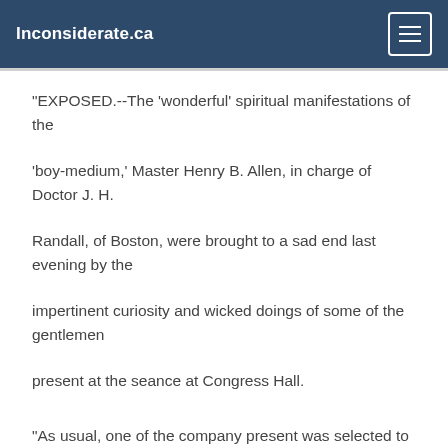Inconsiderate.ca
"EXPOSED.--The 'wonderful' spiritual manifestations of the 'boy-medium,' Master Henry B. Allen, in charge of Doctor J. H. Randall, of Boston, were brought to a sad end last evening by the impertinent curiosity and wicked doings of some of the gentlemen present at the seance at Congress Hall.
"As usual, one of the company present was selected to